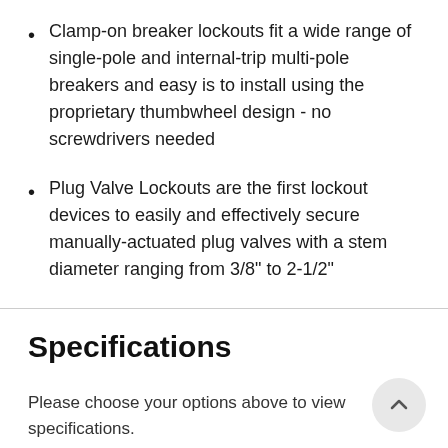Clamp-on breaker lockouts fit a wide range of single-pole and internal-trip multi-pole breakers and easy is to install using the proprietary thumbwheel design - no screwdrivers needed
Plug Valve Lockouts are the first lockout devices to easily and effectively secure manually-actuated plug valves with a stem diameter ranging from 3/8" to 2-1/2"
Specifications
Please choose your options above to view specifications.